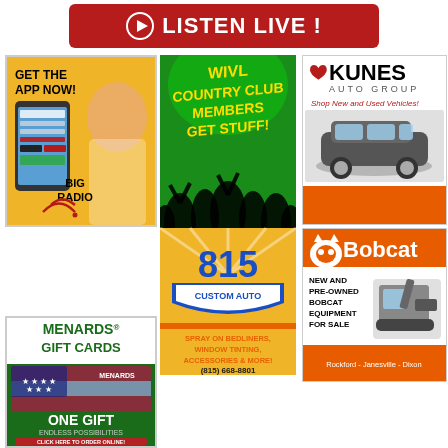[Figure (infographic): Listen Live banner with red background, white play button circle icon and white bold text LISTEN LIVE !]
[Figure (infographic): Big Radio app advertisement with yellow background, woman holding phone, text GET THE APP NOW! and BIG RADIO logo]
[Figure (infographic): WIVL Country Club Members Get Stuff ad with concert crowd silhouette on green background, and 815 Custom Auto ad below with spray bedliners window tinting accessories and more, phone (815) 668-8801]
[Figure (infographic): Kunes Auto Group ad showing SUV with text Shop New and Used Vehicles]
[Figure (infographic): Bobcat equipment ad on orange background with Bobcat logo, New and Pre-Owned Bobcat Equipment For Sale, Rockford - Janesville - Dixon]
[Figure (infographic): Menards Gift Cards ad with dark green background, American flag gift card image, text ONE GIFT ENDLESS POSSIBILITIES, CLICK HERE TO ORDER ONLINE!]